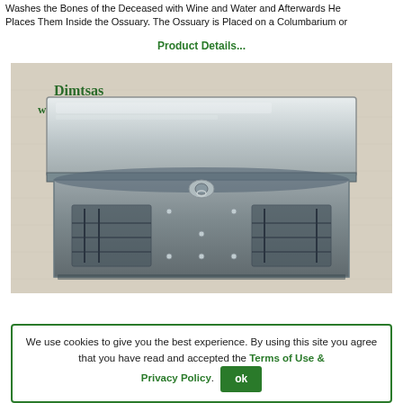Washes the Bones of the Deceased with Wine and Water and Afterwards He Places Them Inside the Ossuary. The Ossuary is Placed on a Columbarium or
Product Details...
[Figure (photo): A shiny stainless steel ossuary box with a hinged lid and clasp, featuring ventilation slots on the front. The box has the Dimtsas watermark and website www.dimtsas.eu in the upper left corner. The background is a beige/linen textured surface.]
We use cookies to give you the best experience. By using this site you agree that you have read and accepted the Terms of Use & Privacy Policy.  ok